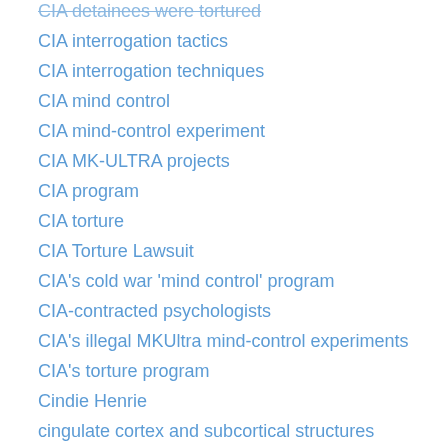CIA detainees were tortured
CIA interrogation tactics
CIA interrogation techniques
CIA mind control
CIA mind-control experiment
CIA MK-ULTRA projects
CIA program
CIA torture
CIA Torture Lawsuit
CIA's cold war 'mind control' program
CIA-contracted psychologists
CIA's illegal MKUltra mind-control experiments
CIA's torture program
Cindie Henrie
cingulate cortex and subcortical structures
civil legal action
CKLN-FM
CKLN-FM Mind Control Series
Clare Barrie
Clare Bronfman